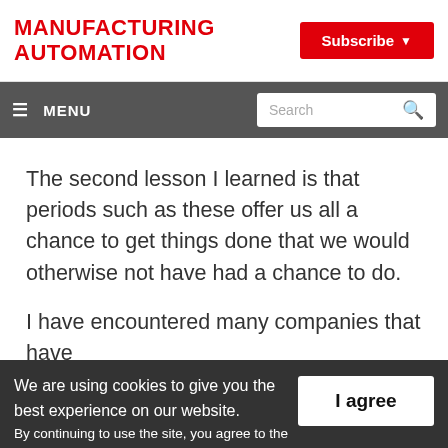MANUFACTURING AUTOMATION
Subscribe
☰ MENU  Search
The second lesson I learned is that periods such as these offer us all a chance to get things done that we would otherwise not have had a chance to do.
I have encountered many companies that have
We are using cookies to give you the best experience on our website. By continuing to use the site, you agree to the use of cookies. To find out more, read our privacy policy.
I agree